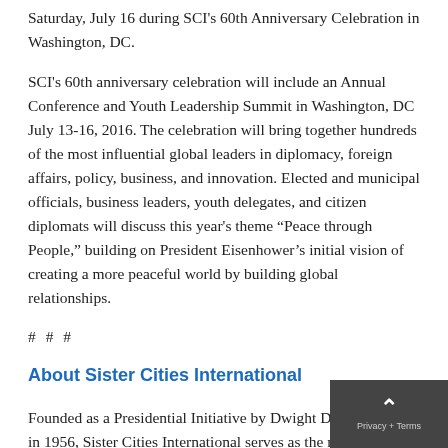Saturday, July 16 during SCI's 60th Anniversary Celebration in Washington, DC.
SCI's 60th anniversary celebration will include an Annual Conference and Youth Leadership Summit in Washington, DC July 13-16, 2016. The celebration will bring together hundreds of the most influential global leaders in diplomacy, foreign affairs, policy, business, and innovation. Elected and municipal officials, business leaders, youth delegates, and citizen diplomats will discuss this year's theme “Peace through People,” building on President Eisenhower’s initial vision of creating a more peaceful world by building global relationships.
# # #
About Sister Cities International
Founded as a Presidential Initiative by Dwight D. Eisenhower in 1956, Sister Cities International serves as the national